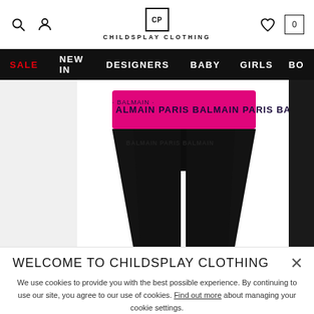[Figure (logo): Childsplay Clothing logo with CP monogram in a square and text below]
SALE  NEW IN  DESIGNERS  BABY  GIRLS  BO...
[Figure (photo): Black Balmain Paris leggings/shorts with pink branded waistband reading BALMAIN PARIS repeated]
WELCOME TO CHILDSPLAY CLOTHING
We use cookies to provide you with the best possible experience. By continuing to use our site, you agree to our use of cookies. Find out more about managing your cookie settings.